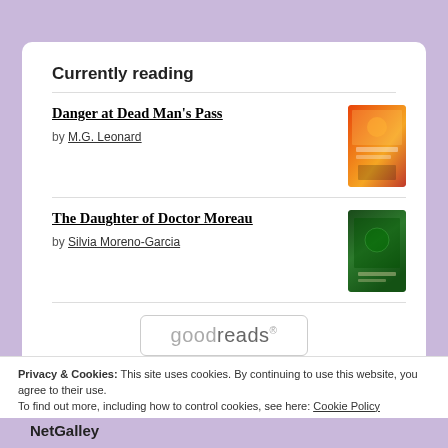Currently reading
Danger at Dead Man's Pass by M.G. Leonard
The Daughter of Doctor Moreau by Silvia Moreno-Garcia
[Figure (logo): Goodreads logo in a rounded rectangle box]
Privacy & Cookies: This site uses cookies. By continuing to use this website, you agree to their use.
To find out more, including how to control cookies, see here: Cookie Policy
Close and accept
NetGalley